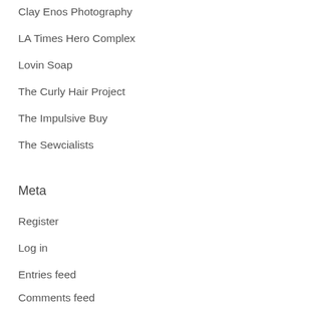Clay Enos Photography
LA Times Hero Complex
Lovin Soap
The Curly Hair Project
The Impulsive Buy
The Sewcialists
Meta
Register
Log in
Entries feed
Comments feed
WordPress.com